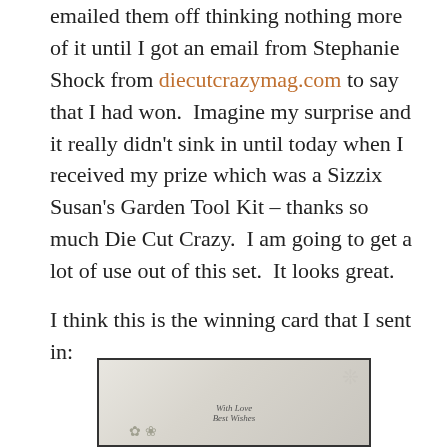emailed them off thinking nothing more of it until I got an email from Stephanie Shock from diecutcrazymag.com to say that I had won.  Imagine my surprise and it really didn't sink in until today when I received my prize which was a Sizzix Susan's Garden Tool Kit – thanks so much Die Cut Crazy.  I am going to get a lot of use out of this set.  It looks great.
I think this is the winning card that I sent in:
[Figure (photo): A handmade greeting card with embossed white-on-white design featuring floral and butterfly motifs, cursive text reading 'With Love Best Wishes', and small paper roses at the bottom.]